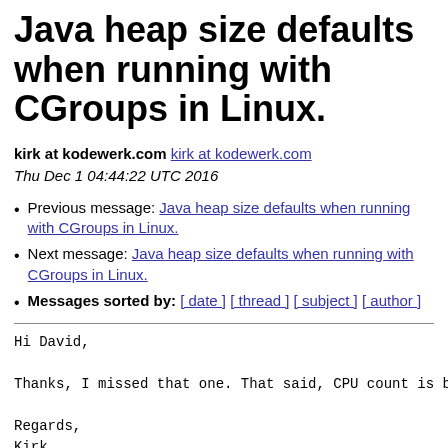Java heap size defaults when running with CGroups in Linux.
kirk at kodewerk.com kirk at kodewerk.com
Thu Dec 1 04:44:22 UTC 2016
Previous message: Java heap size defaults when running with CGroups in Linux.
Next message: Java heap size defaults when running with CGroups in Linux.
Messages sorted by: [ date ] [ thread ] [ subject ] [ author ]
Hi David,

Thanks, I missed that one. That said, CPU count is but on

Regards,
Kirk
> On Dec 1, 2016, at 5:35 AM, David Holmes <david.holmes
>